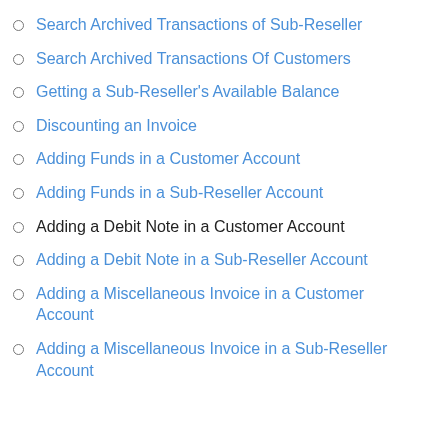Search Archived Transactions of Sub-Reseller
Search Archived Transactions Of Customers
Getting a Sub-Reseller's Available Balance
Discounting an Invoice
Adding Funds in a Customer Account
Adding Funds in a Sub-Reseller Account
Adding a Debit Note in a Customer Account
Adding a Debit Note in a Sub-Reseller Account
Adding a Miscellaneous Invoice in a Customer Account
Adding a Miscellaneous Invoice in a Sub-Reseller Account